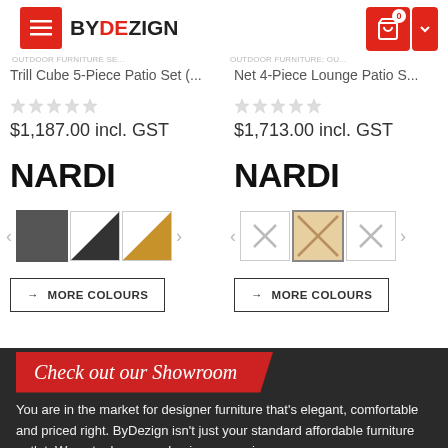BYDEZIGN — navigation header with cart
OUTDOOR FURNITURE SE... | OUTDOOR FURNITURE: OU...
Trill Cube 5-Piece Patio Set (... | Net 4-Piece Lounge Patio S...
$1,187.00 incl. GST | $1,713.00 incl. GST
NARDI | NARDI
[Figure (other): Color swatches for product 1: dark grey (active), white/black diagonal, gold/white diagonal. Navigation arrows on each side.]
[Figure (other): Color swatches for product 2: X mark, beige/tan (active/selected), X mark. Navigation arrows on each side.]
→ MORE COLOURS | → MORE COLOURS
Check out our Showroom
You are in the market for designer furniture that's elegant, comfortable and priced right. ByDezign isn't just your standard affordable furniture outlet. We put a large emphasis on sourcing